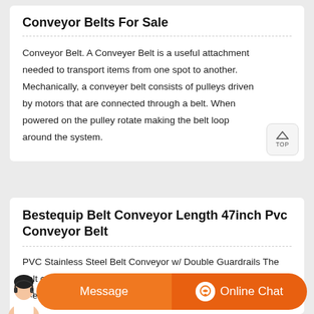Conveyor Belts For Sale
Conveyor Belt. A Conveyer Belt is a useful attachment needed to transport items from one spot to another. Mechanically, a conveyer belt consists of pulleys driven by motors that are connected through a belt. When powered on the pulley rotate making the belt loop around the system.
Bestequip Belt Conveyor Length 47inch Pvc Conveyor Belt
PVC Stainless Steel Belt Conveyor w/ Double Guardrails The belt conveyor can be used to spurt code machines or can be used